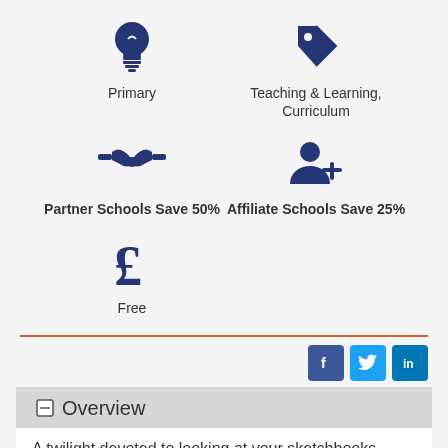[Figure (infographic): Grid of four icons: lightbulb (Primary), price tag (Teaching & Learning, Curriculum), handshake (Partner Schools Save 50%), person-add (Affiliate Schools Save 25%), pound sign (Free)]
Primary
Teaching & Learning, Curriculum
Partner Schools Save 50%
Affiliate Schools Save 25%
Free
[Figure (infographic): Social sharing buttons: Facebook (f), Twitter bird, LinkedIn (in)]
Overview
A twilight devoted to looking at your sketchbooks